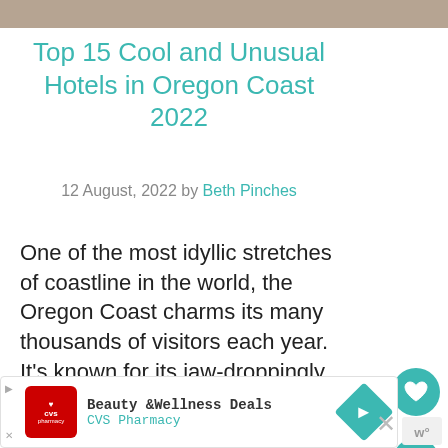[Figure (photo): Top portion of a hotel interior photo, cropped at top of page]
Top 15 Cool and Unusual Hotels in Oregon Coast 2022
12 August, 2022 by Beth Pinches
One of the most idyllic stretches of coastline in the world, the Oregon Coast charms its many thousands of visitors each year. It's known for its jaw-droppingly beautiful scenery made up of rocky headlands, quaint … Read more
[Figure (screenshot): CVS Pharmacy advertisement banner - Beauty & Wellness Deals]